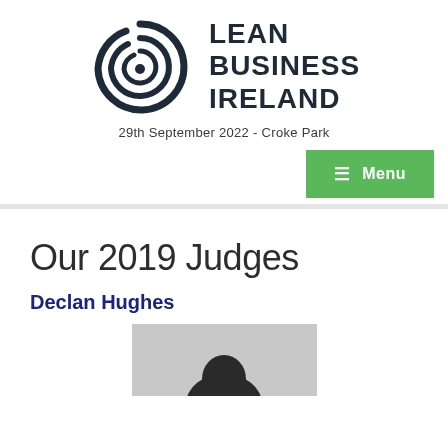[Figure (logo): Lean Business Ireland logo with spiral icon and text 'LEAN BUSINESS IRELAND', date '29th September 2022 - Croke Park']
[Figure (screenshot): Green menu button with hamburger icon and text 'Menu']
Our 2019 Judges
Declan Hughes
[Figure (photo): Partial photo of Declan Hughes, showing top of head/shoulders, cropped at bottom of page]